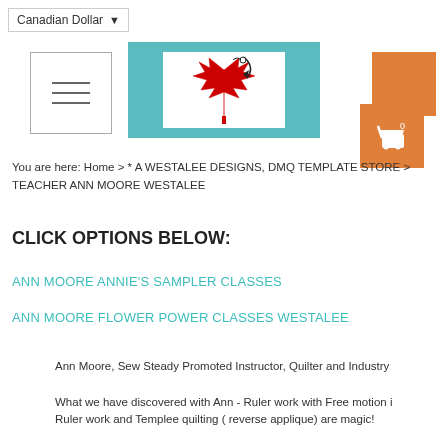Canadian Dollar
[Figure (logo): Westalee Designs DMQ store logo — teal background with white inner box containing a red maple leaf with a needle and thread illustration]
You are here: Home > * A WESTALEE DESIGNS, DMQ TEMPLATE STORE > TEACHER ANN MOORE WESTALEE
CLICK OPTIONS BELOW:
ANN MOORE ANNIE'S SAMPLER CLASSES
ANN MOORE FLOWER POWER CLASSES WESTALEE
Ann Moore, Sew Steady Promoted Instructor, Quilter and Industry
What we have discovered with Ann - Ruler work with Free motion i Ruler work and Templee quilting ( reverse applique) are magic!